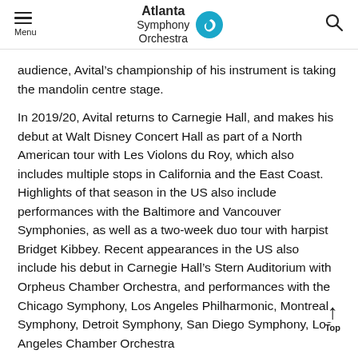Menu | Atlanta Symphony Orchestra | [Search]
audience, Avital’s championship of his instrument is taking the mandolin centre stage.
In 2019/20, Avital returns to Carnegie Hall, and makes his debut at Walt Disney Concert Hall as part of a North American tour with Les Violons du Roy, which also includes multiple stops in California and the East Coast. Highlights of that season in the US also include performances with the Baltimore and Vancouver Symphonies, as well as a two-week duo tour with harpist Bridget Kibbey. Recent appearances in the US also include his debut in Carnegie Hall’s Stern Auditorium with Orpheus Chamber Orchestra, and performances with the Chicago Symphony, Los Angeles Philharmonic, Montreal Symphony, Detroit Symphony, San Diego Symphony, Los Angeles Chamber Orchestra